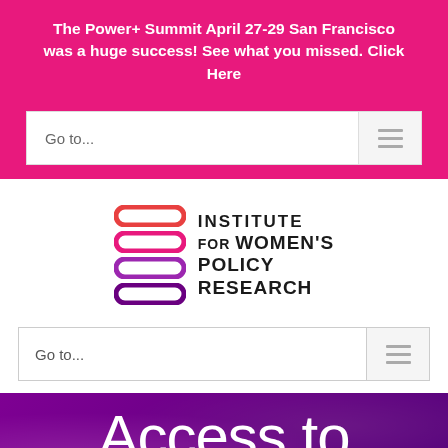The Power+ Summit April 27-29 San Francisco was a huge success! See what you missed. Click Here
[Figure (screenshot): Navigation dropdown bar with 'Go to...' text and hamburger menu icon on pink background]
[Figure (logo): Institute for Women's Policy Research logo with stacked oval shapes in red, pink, and purple gradient]
[Figure (screenshot): Second navigation dropdown bar with 'Go to...' text and hamburger menu icon on white background]
Access to